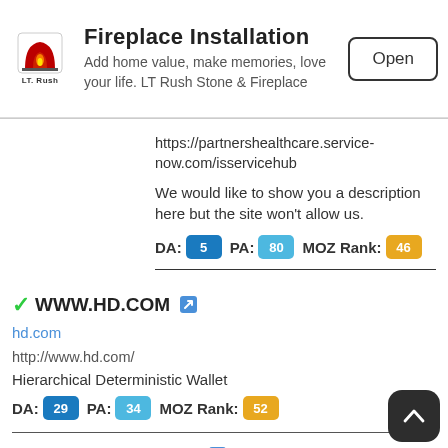[Figure (screenshot): Advertisement banner for LT Rush Stone & Fireplace app showing logo, title 'Fireplace Installation', subtitle text, and Open button]
https://partnershealthcare.service-now.com/isservicehub
We would like to show you a description here but the site won't allow us.
DA: 5  PA: 80  MOZ Rank: 46
✓WWW.HD.COM
hd.com
http://www.hd.com/
Hierarchical Deterministic Wallet
DA: 29  PA: 34  MOZ Rank: 52
✓Hotel Condesa DF